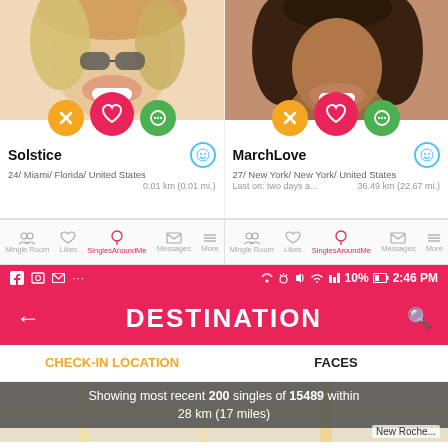[Figure (screenshot): Dating app profile card for 'Solstice', 24, Miami, Florida, United States, 0.01 km away, with action buttons (X, heart, message)]
[Figure (screenshot): Dating app profile card for 'MarchLove', 27, New York, New York, United States, last on two days ago, 36.49 km (22.67 mi) away, with action buttons]
[Figure (screenshot): App navigation bar with Mingle Room, Likes, SinglesAroundMe (active), Messages, More icons — shown twice side by side]
[Figure (screenshot): Status bar showing Facebook, photo, mail icons, Bluetooth, WiFi, 10% battery, 2:46 PM on red background]
DESTINATION
CHECK-IN LOCATION
FACES
Showing most recent 200 singles of 15489 within 28 km (17 miles)
New Roche...